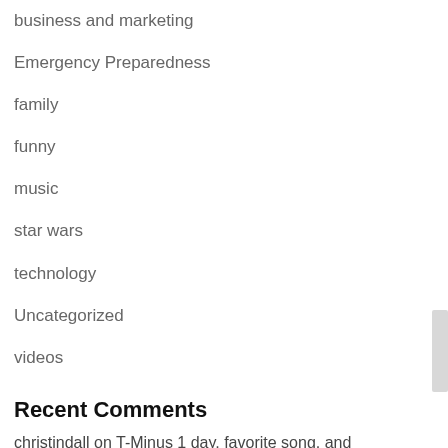business and marketing
Emergency Preparedness
family
funny
music
star wars
technology
Uncategorized
videos
Recent Comments
christindall on T-Minus 1 day, favorite song, and Elizabethtown.
The Krunchy Krab on T-Minus 1 day, favorite song, and Elizabethtown.
The Krunchy Krab on T-Minus 1 day, favorite song, and